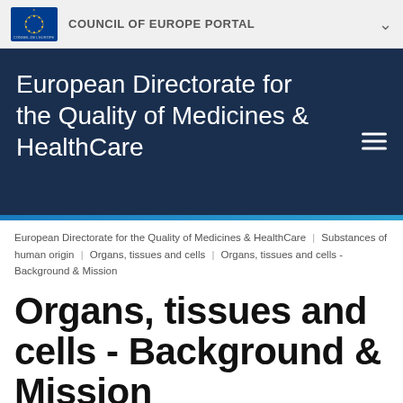COUNCIL OF EUROPE PORTAL
European Directorate for the Quality of Medicines & HealthCare
European Directorate for the Quality of Medicines & HealthCare | Substances of human origin | Organs, tissues and cells | Organs, tissues and cells - Background & Mission
Organs, tissues and cells - Background & Mission